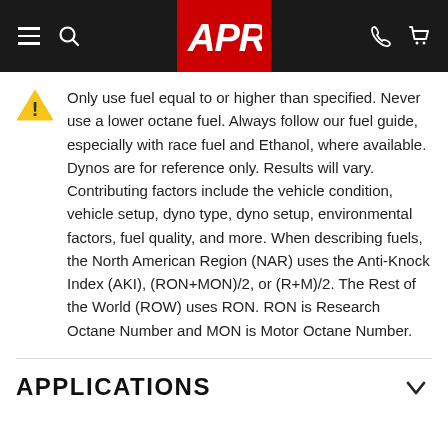APR navigation bar with logo
Only use fuel equal to or higher than specified. Never use a lower octane fuel. Always follow our fuel guide, especially with race fuel and Ethanol, where available. Dynos are for reference only. Results will vary. Contributing factors include the vehicle condition, vehicle setup, dyno type, dyno setup, environmental factors, fuel quality, and more. When describing fuels, the North American Region (NAR) uses the Anti-Knock Index (AKI), (RON+MON)/2, or (R+M)/2. The Rest of the World (ROW) uses RON. RON is Research Octane Number and MON is Motor Octane Number.
APPLICATIONS